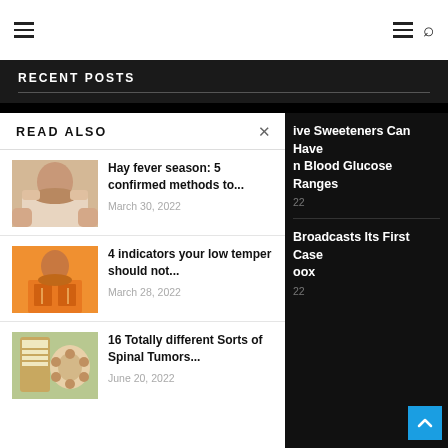Navigation header with hamburger menu and search icon
RECENT POSTS
READ ALSO
ive Sweeteners Can Have n Blood Glucose Ranges
22
[Figure (photo): Woman lying down with hands on her head]
Hay fever season: 5 confirmed methods to...
March 30, 2022
Broadcasts Its First Case oox
22
[Figure (photo): Woman with crossed arms against orange background]
4 indicators your low temper should not...
March 28, 2022
[Figure (photo): Illustration of spinal tumors]
16 Totally different Sorts of Spinal Tumors...
June 20, 2022